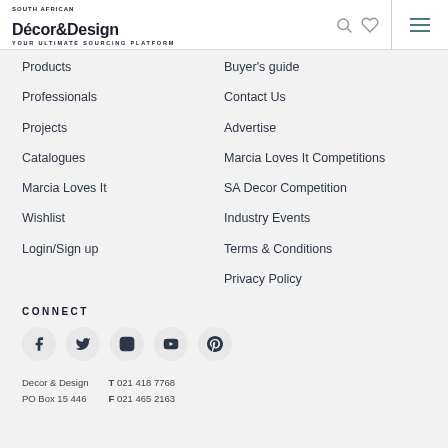Décor&Design — Your Ultimate Sourcing Platform
Products
Buyer's guide
Professionals
Contact Us
Projects
Advertise
Catalogues
Marcia Loves It Competitions
Marcia Loves It
SA Decor Competition
Wishlist
Industry Events
Login/Sign up
Terms & Conditions
Privacy Policy
CONNECT
[Figure (infographic): Social media icons: Facebook, Twitter, Instagram, YouTube, Pinterest]
Decor & Design  T 021 418 7768
PO Box 15 446  F 021 465 2163